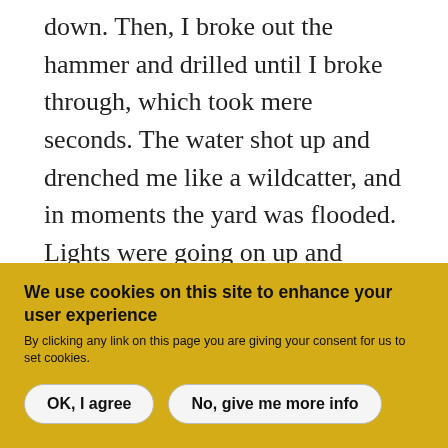down. Then, I broke out the hammer and drilled until I broke through, which took mere seconds. The water shot up and drenched me like a wildcatter, and in moments the yard was flooded. Lights were going on up and down the street, so I left the hammer in the hole and hightailed it. When I got home, I called the city's emergency hotline and said I thought there was some unpermitted construction going on at my old house and, given the precarious nature of the hillside and the street, I was quite worried. I gave them Hugh's line about sinkholes and such. I bet they got a
We use cookies on this site to enhance your user experience
By clicking any link on this page you are giving your consent for us to set cookies.
OK, I agree
No, give me more info